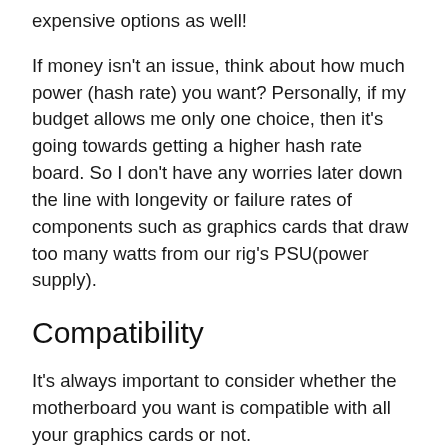expensive options as well!
If money isn't an issue, think about how much power (hash rate) you want? Personally, if my budget allows me only one choice, then it's going towards getting a higher hash rate board. So I don't have any worries later down the line with longevity or failure rates of components such as graphics cards that draw too many watts from our rig's PSU(power supply).
Compatibility
It's always important to consider whether the motherboard you want is compatible with all your graphics cards or not.